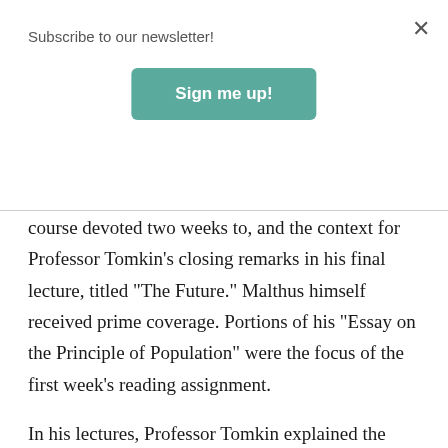Subscribe to our newsletter!
[Figure (other): Sign me up! button — teal/green rounded rectangle button with white bold text]
course devoted two weeks to, and the context for Professor Tomkin’s closing remarks in his final lecture, titled “The Future.” Malthus himself received prime coverage. Portions of his “Essay on the Principle of Population” were the focus of the first week’s reading assignment.
In his lectures, Professor Tomkin explained the significance of j-shaped and s-shaped growth curves—terms that Malthus himself